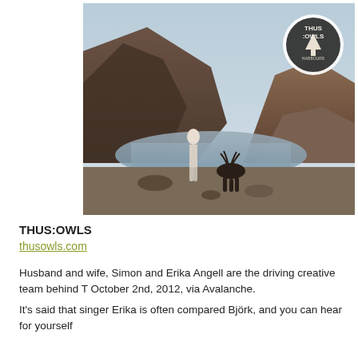[Figure (photo): Album cover for Thus:Owls 'Harbours'. A surreal vintage-style photograph showing a rocky mountain landscape with a lake/river. A pale figure stands in the water, and a dark animal (deer or similar) is visible nearby. In the top-right corner is a white circle with a dark tree logo and text reading 'THUS OWLS HARBOURS'.]
THUS:OWLS
thusowls.com
Husband and wife, Simon and Erika Angell are the driving creative team behind T October 2nd, 2012, via Avalanche.
It's said that singer Erika is often compared Björk, and you can hear for yourself